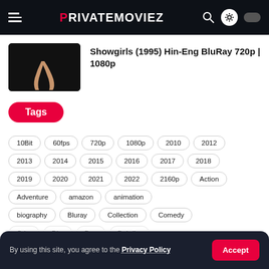PRIVATEMOVIEZ
Showgirls (1995) Hin-Eng BluRay 720p | 1080p
Tags
10Bit
60fps
720p
1080p
2010
2012
2013
2014
2015
2016
2017
2018
2019
2020
2021
2022
2160p
Action
Adventure
amazon
animation
biography
Bluray
Collection
Comedy
By using this site, you agree to the Privacy Policy
Accept